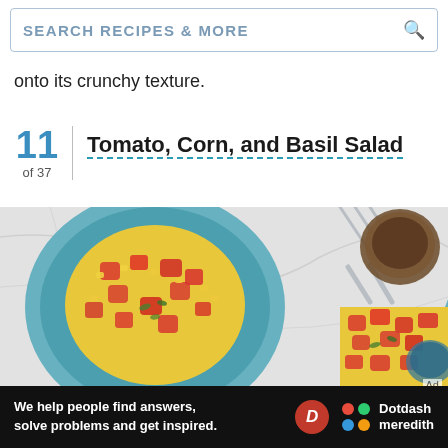SEARCH RECIPES & MORE
onto its crunchy texture.
11 of 37 — Tomato, Corn, and Basil Salad
[Figure (photo): Overhead photo of two blue bowls filled with tomato, corn, and basil salad on a marble surface, with forks and glasses nearby.]
We help people find answers, solve problems and get inspired. Dotdash meredith